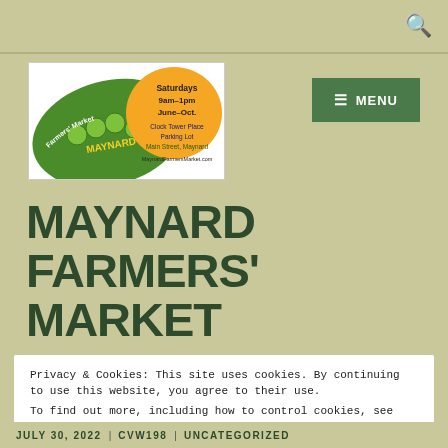[Figure (logo): Maynard Farmers' Market logo: green leaf with peas, orange circle, text 'Saturdays 9am-1pm June-Oct. Clock Tower Place Parking Lot Main Street, Maynard MaynardFarmersMarket.com']
MAYNARD FARMERS' MARKET
Privacy & Cookies: This site uses cookies. By continuing to use this website, you agree to their use.
To find out more, including how to control cookies, see here: Cookie Policy
Close and accept
JULY 30, 2022  |  CVW198  |  UNCATEGORIZED